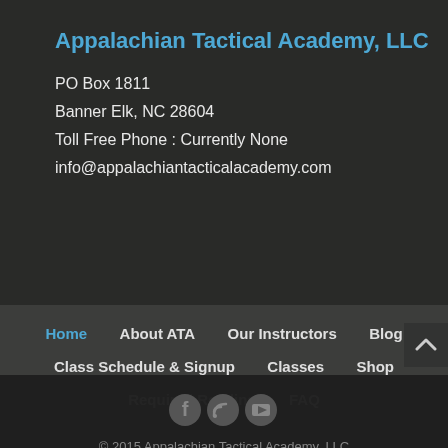Appalachian Tactical Academy, LLC
PO Box 1811
Banner Elk, NC 28604
Toll Free Phone : Currently None
info@appalachiantacticalacademy.com
Home
About ATA
Our Instructors
Blog
Class Schedule & Signup
Classes
Shop
Required Reading
FAQ
© 2015 Appalachian Tactical Academy, LLC